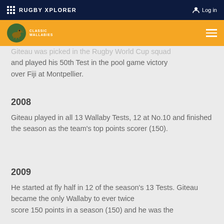RUGBY XPLORER   Log in
[Figure (logo): Classic Wallabies logo with kangaroo icon on orange bar with hamburger menu]
Giteau was picked in the Rugby World Cup squad and played his 50th Test in the pool game victory over Fiji at Montpellier.
2008
Giteau played in all 13 Wallaby Tests, 12 at No.10 and finished the season as the team's top points scorer (150).
2009
He started at fly half in 12 of the season's 13 Tests. Giteau became the only Wallaby to ever twice score 150 points in a season (150) and he was the